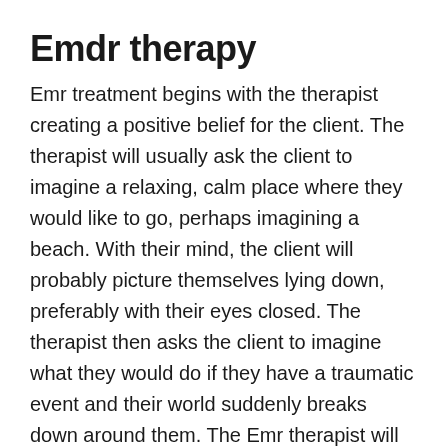Emdr therapy
Emr treatment begins with the therapist creating a positive belief for the client. The therapist will usually ask the client to imagine a relaxing, calm place where they would like to go, perhaps imagining a beach. With their mind, the client will probably picture themselves lying down, preferably with their eyes closed. The therapist then asks the client to imagine what they would do if they have a traumatic event and their world suddenly breaks down around them. The Emr therapist will ask the client to identify the negative feelings felt during this time and teach the client how to overcome these feelings by replacing them with more positive beliefs.